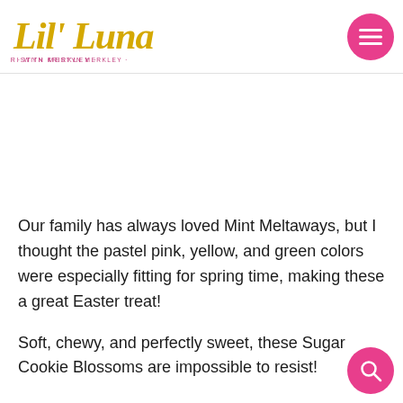Lil' Luna with Kristyn Merkley — navigation header
Our family has always loved Mint Meltaways, but I thought the pastel pink, yellow, and green colors were especially fitting for spring time, making these a great Easter treat!
Soft, chewy, and perfectly sweet, these Sugar Cookie Blossoms are impossible to resist!